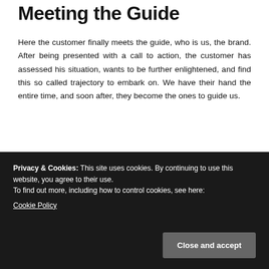Meeting the Guide
Here the customer finally meets the guide, who is us, the brand. After being presented with a call to action, the customer has assessed his situation, wants to be further enlightened, and find this so called trajectory to embark on. We have their hand the entire time, and soon after, they become the ones to guide us.
Challenge
Privacy & Cookies: This site uses cookies. By continuing to use this website, you agree to their use.
To find out more, including how to control cookies, see here:
Cookie Policy
Close and accept